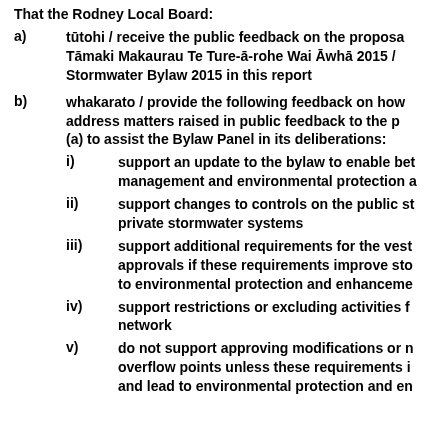That the Rodney Local Board:
a) tūtohi / receive the public feedback on the proposed Tāmaki Makaurau Te Ture-ā-rohe Wai Āwhā 2015 / Auckland Stormwater Bylaw 2015 in this report
b) whakarato / provide the following feedback on how to address matters raised in public feedback to the proposed (a) to assist the Bylaw Panel in its deliberations:
i) support an update to the bylaw to enable better management and environmental protection a…
ii) support changes to controls on the public st… private stormwater systems
iii) support additional requirements for the vest… approvals if these requirements improve sto… to environmental protection and enhancement…
iv) support restrictions or excluding activities f… network
v) do not support approving modifications or n… overflow points unless these requirements i… and lead to environmental protection and enh…